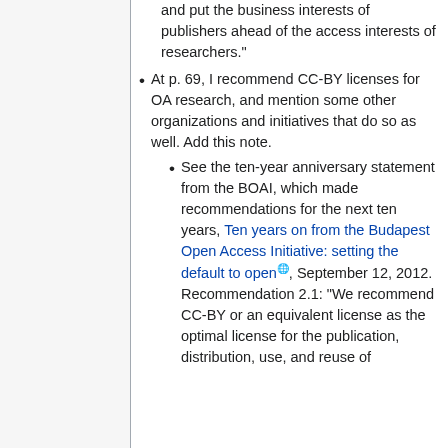and put the business interests of publishers ahead of the access interests of researchers."
At p. 69, I recommend CC-BY licenses for OA research, and mention some other organizations and initiatives that do so as well. Add this note.
See the ten-year anniversary statement from the BOAI, which made recommendations for the next ten years, Ten years on from the Budapest Open Access Initiative: setting the default to open, September 12, 2012. Recommendation 2.1: "We recommend CC-BY or an equivalent license as the optimal license for the publication, distribution, use, and reuse of